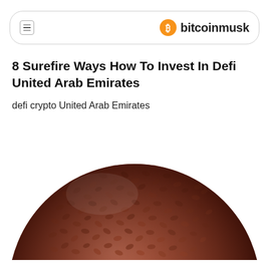bitcoinmusk
8 Surefire Ways How To Invest In Defi United Arab Emirates
defi crypto United Arab Emirates
[Figure (photo): A large sphere or ball covered in small brown seed-like or leaf-like textured elements, photographed against a white background. The sphere has a rich reddish-brown color and appears to be made of densely packed small oval shapes.]